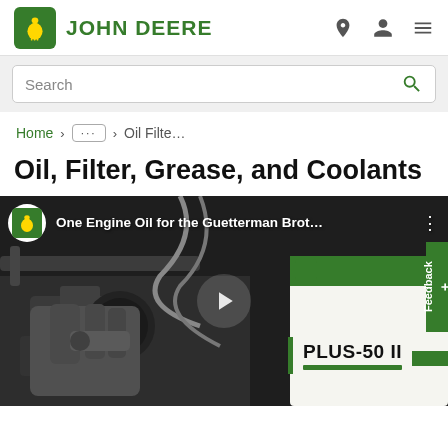John Deere
Search
Home > ... > Oil Filte...
Oil, Filter, Grease, and Coolants
[Figure (screenshot): Video thumbnail showing a gloved hand working on engine machinery, with a John Deere PLUS-50 II oil product visible in the background. Video title reads: One Engine Oil for the Guetterman Brot...]